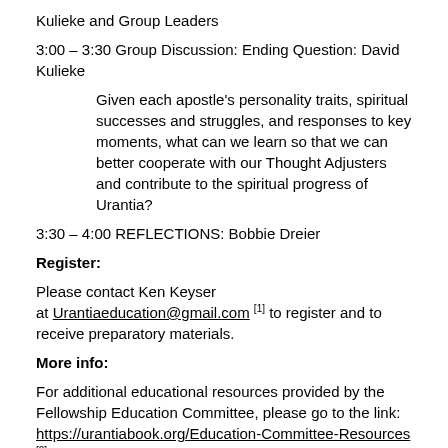Kulieke and Group Leaders
3:00 – 3:30 Group Discussion: Ending Question: David Kulieke
Given each apostle's personality traits, spiritual successes and struggles, and responses to key moments, what can we learn so that we can better cooperate with our Thought Adjusters and contribute to the spiritual progress of Urantia?
3:30 – 4:00 REFLECTIONS: Bobbie Dreier
Register:
Please contact Ken Keyser at Urantiaeducation@gmail.com [1] to register and to receive preparatory materials.
More info:
For additional educational resources provided by the Fellowship Education Committee, please go to the link: https://urantiabook.org/Education-Committee-Resources [2]